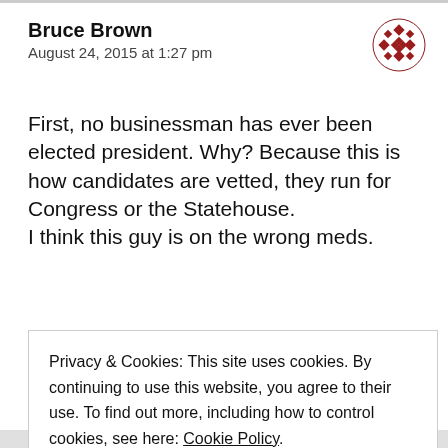Bruce Brown
August 24, 2015 at 1:27 pm
[Figure (logo): Red CBC-style mosaic logo icon in top right corner]
First, no businessman has ever been elected president. Why? Because this is how candidates are vetted, they run for Congress or the Statehouse.
I think this guy is on the wrong meds.
Privacy & Cookies: This site uses cookies. By continuing to use this website, you agree to their use. To find out more, including how to control cookies, see here: Cookie Policy
Close and accept